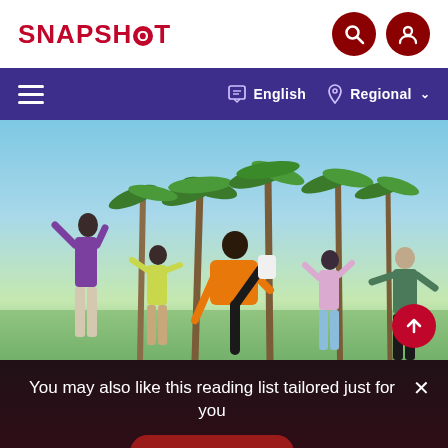SNAPSHOT
[Figure (screenshot): Navigation bar with hamburger menu, English language selector and Regional dropdown]
[Figure (photo): Group of young people dancing outdoors near palm trees on a sunny day]
You may also like this reading list tailored just for you
READ NOW